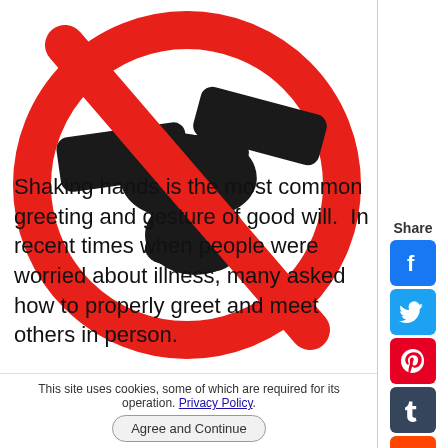[Figure (illustration): No handshake prohibition sign — red circle with diagonal slash over two hands shaking, black silhouette on white background]
Shaking hands is the most common greeting and gesture of good will. In recent times when people were worried about illness, many asked how to properly greet and meet others in person.
[Figure (other): Social media share sidebar with Share label and icons for Facebook, Twitter, Pinterest, Tumblr, Reddit, WhatsApp, Messenger]
This site uses cookies, some of which are required for its operation. Privacy Policy. Agree and Continue